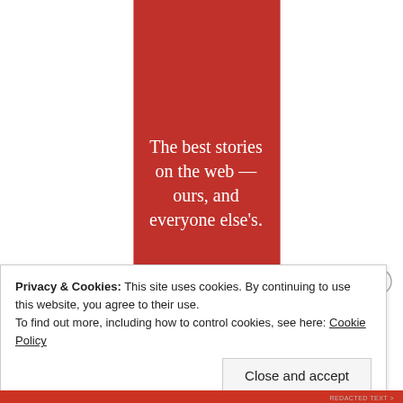[Figure (illustration): Red vertical banner/advertisement panel with serif white text reading 'The best stories on the web — ours, and everyone else's.' and a dark 'Start reading' button at the bottom]
Privacy & Cookies: This site uses cookies. By continuing to use this website, you agree to their use.
To find out more, including how to control cookies, see here: Cookie Policy
Close and accept